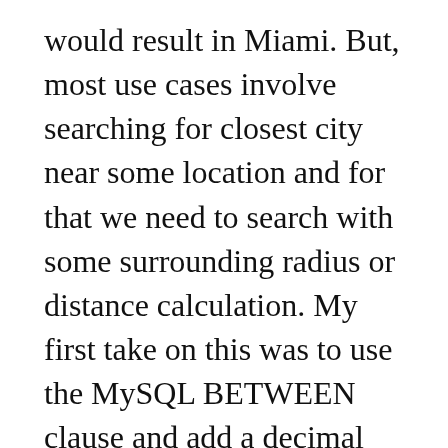would result in Miami. But, most use cases involve searching for closest city near some location and for that we need to search with some surrounding radius or distance calculation. My first take on this was to use the MySQL BETWEEN clause and add a decimal point above and below your current geo coordinate. If you think about the Miami example